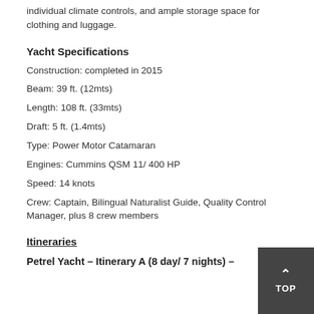individual climate controls, and ample storage space for clothing and luggage.
Yacht Specifications
Construction: completed in 2015
Beam: 39 ft. (12mts)
Length: 108 ft. (33mts)
Draft: 5 ft. (1.4mts)
Type: Power Motor Catamaran
Engines: Cummins QSM 11/ 400 HP
Speed: 14 knots
Crew: Captain, Bilingual Naturalist Guide, Quality Control Manager, plus 8 crew members
Itineraries
Petrel Yacht – Itinerary A (8 day/ 7 nights) –